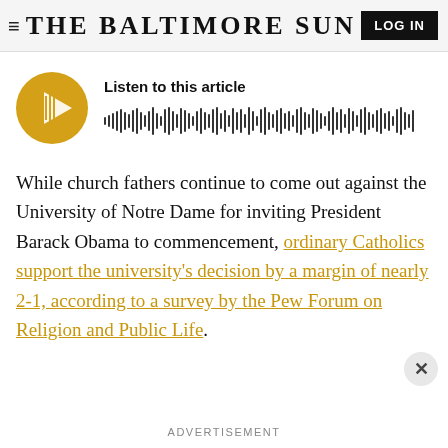THE BALTIMORE SUN | LOG IN
[Figure (other): Audio player widget with golden play button circle and waveform visualization, labeled 'Listen to this article']
While church fathers continue to come out against the University of Notre Dame for inviting President Barack Obama to commencement, ordinary Catholics support the university's decision by a margin of nearly 2-1, according to a survey by the Pew Forum on Religion and Public Life.
ADVERTISEMENT